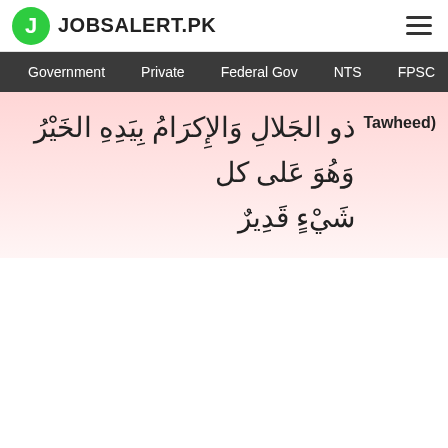JOBSALERT.PK
Government   Private   Federal Gov   NTS   FPSC
ذو الجَلالِ وَالإِكرَامُ بِيَدِهِ الخَيْرُ وَهُوَ عَلى كل شَيْءٍ قَدِيرٌ   Tawheed)